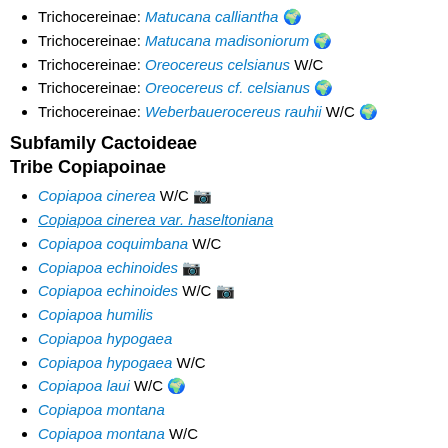Trichocereinae: Matucana calliantha 🌍
Trichocereinae: Matucana madisoniorum 🌍
Trichocereinae: Oreocereus celsianus W/C
Trichocereinae: Oreocereus cf. celsianus 🌍
Trichocereinae: Weberbauerocereus rauhii W/C 🌍
Subfamily Cactoideae
Tribe Copiapoinae
Copiapoa cinerea W/C 📷
Copiapoa cinerea var. haseltoniana
Copiapoa coquimbana W/C
Copiapoa echinoides 📷
Copiapoa echinoides W/C 📷
Copiapoa humilis
Copiapoa hypogaea
Copiapoa hypogaea W/C
Copiapoa laui W/C 🌍
Copiapoa montana
Copiapoa montana W/C
Copiapoa unidentified 🐞
Frailea cf. pygmaea
Subfamily Cactoideae